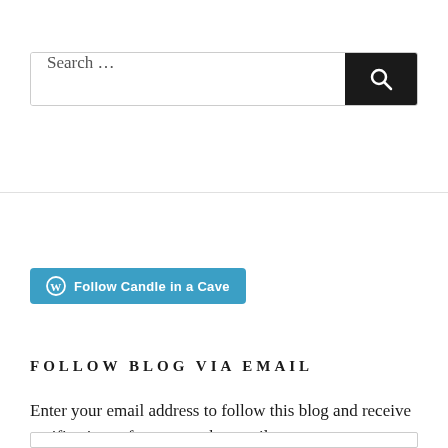[Figure (screenshot): Search bar with text input showing 'Search …' placeholder and a black search button with magnifying glass icon on the right]
[Figure (screenshot): Blue button with WordPress logo icon and text 'Follow Candle in a Cave']
FOLLOW BLOG VIA EMAIL
Enter your email address to follow this blog and receive notifications of new posts by email.